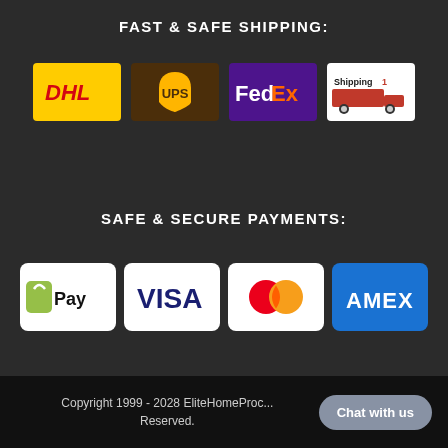FAST & SAFE SHIPPING:
[Figure (logo): DHL shipping logo - yellow background with red DHL text]
[Figure (logo): UPS shipping logo - brown background with UPS shield emblem]
[Figure (logo): FedEx shipping logo - purple background with white and orange FedEx text]
[Figure (logo): Shipping1 logo - white background with truck and Shipping1 text]
SAFE & SECURE PAYMENTS:
[Figure (logo): Shop Pay logo - white background with green bag icon and Pay text]
[Figure (logo): VISA logo - white background with blue VISA text]
[Figure (logo): Mastercard logo - white background with red and orange overlapping circles]
[Figure (logo): American Express AMEX logo - blue background with AMEX text]
Copyright 1999 - 2028 EliteHomeProc... Reserved.